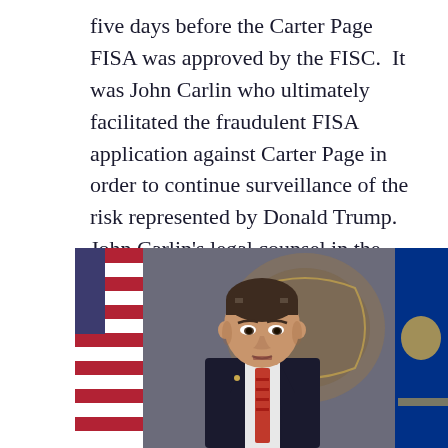five days before the Carter Page FISA was approved by the FISC.  It was John Carlin who ultimately facilitated the fraudulent FISA application against Carter Page in order to continue surveillance of the risk represented by Donald Trump. John Carlin's legal counsel in the NSD was Michael Atkinson.
[Figure (photo): A man in a dark suit with a red tie standing in front of an American flag on the left and a blue New York state flag on the right, with a decorative seal/emblem visible in the background.]